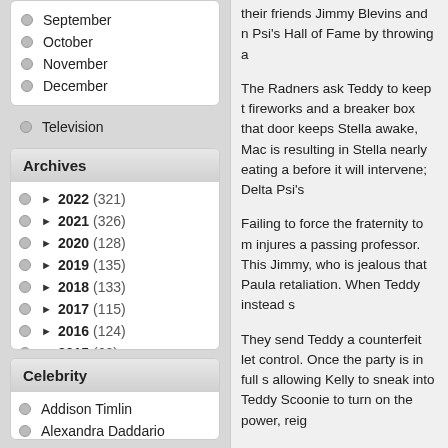September
October
November
December
Television
Archives
► 2022 (321)
► 2021 (326)
► 2020 (128)
► 2019 (135)
► 2018 (133)
► 2017 (115)
► 2016 (124)
► 2015 (62)
Celebrity
Addison Timlin
Alexandra Daddario
their friends Jimmy Blevins and n Psi's Hall of Fame by throwing a
The Radners ask Teddy to keep t fireworks and a breaker box that door keeps Stella awake, Mac is resulting in Stella nearly eating a before it will intervene; Delta Psi's
Failing to force the fraternity to m injures a passing professor. This Jimmy, who is jealous that Paula retaliation. When Teddy instead s
They send Teddy a counterfeit let control. Once the party is in full s allowing Kelly to sneak into Teddy Scoonie to turn on the power, reig
Four months later, Mac runs into takes off his shirt and jokingly act Man. Mac and Kelly decline, acce